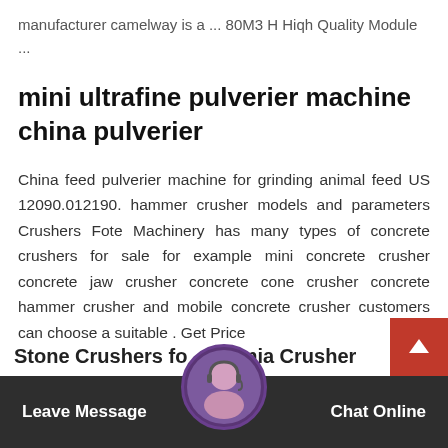manufacturer camelway is a ... 80M3 H High Quality Module ...
mini ultrafine pulverier machine china pulverier
China feed pulverier machine for grinding animal feed US 12090.012190. hammer crusher models and parameters Crushers Fote Machinery has many types of concrete crushers for sale for example mini concrete crusher concrete jaw crusher concrete cone crusher concrete hammer crusher and mobile concrete crusher customers can choose a suitable . Get Price
Stone Crushers for Tanzania Crusher
Leave Message   Chat Online